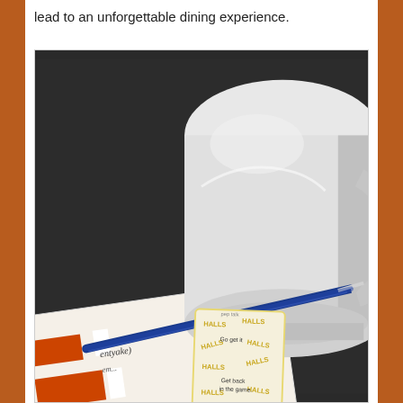lead to an unforgettable dining experience.
[Figure (photo): A photo taken from above on a dark table surface showing: a white ceramic mug/cup in the upper right, a notebook or notepad with orange stripes visible on the left, a blue ballpoint pen laying diagonally across the notepad, and a small Halls cough drop wrapper (yellow/gold branded pattern) in the lower center of the frame with text reading 'Go get it', 'Get back in the game', and 'A PEP TALK IN EVERY DROP']